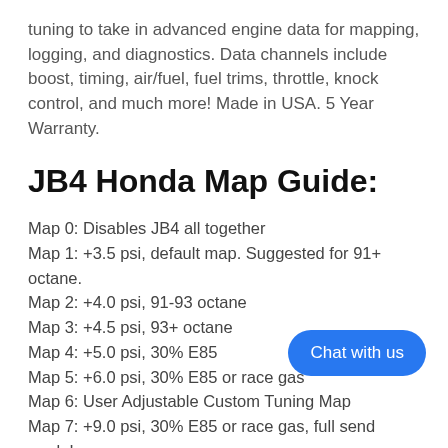tuning to take in advanced engine data for mapping, logging, and diagnostics. Data channels include boost, timing, air/fuel, fuel trims, throttle, knock control, and much more! Made in USA. 5 Year Warranty.
JB4 Honda Map Guide:
Map 0: Disables JB4 all together
Map 1: +3.5 psi, default map. Suggested for 91+ octane.
Map 2: +4.0 psi, 91-93 octane
Map 3: +4.5 psi, 93+ octane
Map 4: +5.0 psi, 30% E85
Map 5: +6.0 psi, 30% E85 or race gas
Map 6: User Adjustable Custom Tuning Map
Map 7: +9.0 psi, 30% E85 or race gas, full send mode!
Map 8: VALET/Low Boost Map
Wirelessly connect the JB4 to your Blu compatible iOS and Android device via the JB4 Mobile